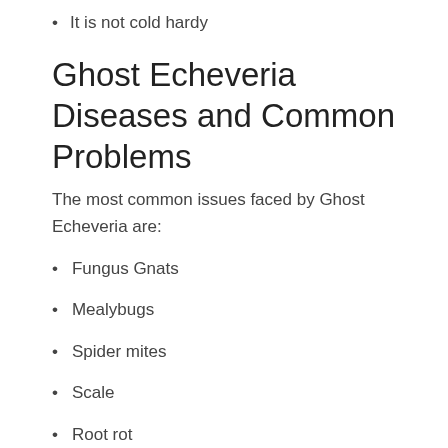It is not cold hardy
Ghost Echeveria Diseases and Common Problems
The most common issues faced by Ghost Echeveria are:
Fungus Gnats
Mealybugs
Spider mites
Scale
Root rot